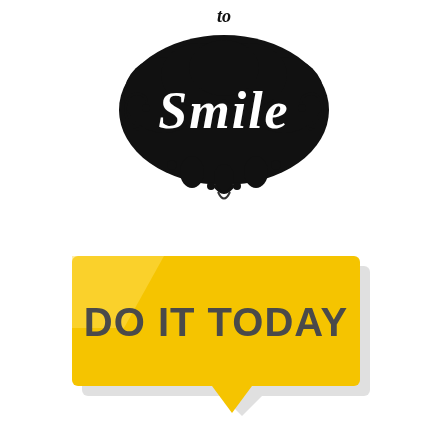[Figure (illustration): Decorative hand-lettered calligraphic text reading 'Smile' with ornamental swirls and flourishes in black on white background, with partial text 'to' visible at top]
[Figure (illustration): Yellow speech bubble / banner graphic with dark gray bold text reading 'DO IT TODAY', with a lighter yellow highlight stripe and a drop shadow effect, pointing downward at bottom center]